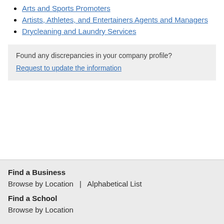Arts and Sports Promoters
Artists, Athletes, and Entertainers Agents and Managers
Drycleaning and Laundry Services
Found any discrepancies in your company profile?
Request to update the information
Find a Business
Browse by Location  |  Alphabetical List
Find a School
Browse by Location